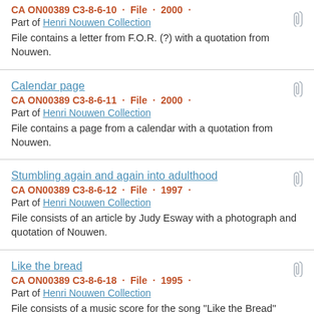CA ON00389 C3-8-6-10 · File · 2000 · Part of Henri Nouwen Collection. File contains a letter from F.O.R. (?) with a quotation from Nouwen.
Calendar page. CA ON00389 C3-8-6-11 · File · 2000 · Part of Henri Nouwen Collection. File contains a page from a calendar with a quotation from Nouwen.
Stumbling again and again into adulthood. CA ON00389 C3-8-6-12 · File · 1997 · Part of Henri Nouwen Collection. File consists of an article by Judy Esway with a photograph and quotation of Nouwen.
Like the bread. CA ON00389 C3-8-6-18 · File · 1995 · Part of Henri Nouwen Collection. File consists of a music score for the song "Like the Bread" written by Tom Booth and T. Timothy Casey.